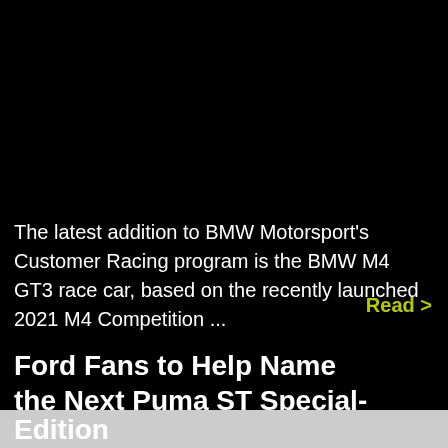The latest addition to BMW Motorsport's Customer Racing program is the BMW M4 GT3 race car, based on the recently launched 2021 M4 Competition ...
Read >
Ford Fans to Help Name the Next Puma ST Special-Edition